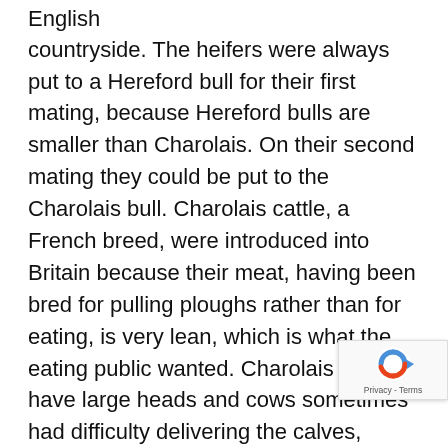English countryside. The heifers were always put to a Hereford bull for their first mating, because Hereford bulls are smaller than Charolais. On their second mating they could be put to the Charolais bull. Charolais cattle, a French breed, were introduced into Britain because their meat, having been bred for pulling ploughs rather than for eating, is very lean, which is what the eating public wanted. Charolais cattle have large heads and cows sometimes had difficulty delivering the calves, which were also difficult to get going. They would be born alive but sometimes, as Sue put it, they didn't seem to have the will to live. The Bradfords had to blow up their noses and occasionally the vet would throw a calf over a gate to stimulate it to breathe. The two Charolais bulls were called Algernon and